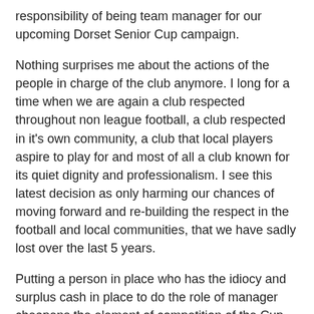responsibility of being team manager for our upcoming Dorset Senior Cup campaign.
Nothing surprises me about the actions of the people in charge of the club anymore. I long for a time when we are again a club respected throughout non league football, a club respected in it's own community, a club that local players aspire to play for and most of all a club known for its quiet dignity and professionalism. I see this latest decision as only harming our chances of moving forward and re-building the respect in the football and local communities, that we have sadly lost over the last 5 years.
Putting a person in place who has the idiocy and surplus cash in place to do the role of manager cheapens the element of competition of the Cup. We've made a mockery of the Conference and Conference South in the last two seasons with our annual implosions and kids days and now we've decided to cheapen another competition through our self serving actions. For a club that should want to be seen as a beacon for football in the county this really is a strange way to behave.